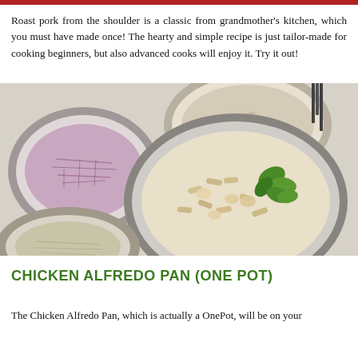Roast pork from the shoulder is a classic from grandmother's kitchen, which you must have made once! The hearty and simple recipe is just tailor-made for cooking beginners, but also advanced cooks will enjoy it. Try it out!
[Figure (photo): Overhead view of several bowls containing various ingredients on a white table. Center bowl contains pasta (penne) with chicken pieces and fresh basil leaves. Left bowls contain shredded red cabbage and breadcrumbs. Bottom bowl contains shredded cheese or noodles.]
CHICKEN ALFREDO PAN (ONE POT)
The Chicken Alfredo Pan, which is actually a OnePot, will be on your